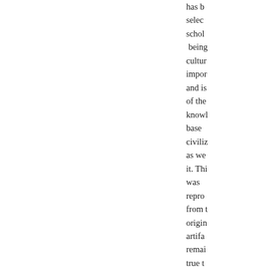[Figure (illustration): Book cover with dark purple background, decorative floral/botanical elements in lighter purple/grey, and author names 'ALEXANDER POPE, WILLIAM WARBURTON' at the bottom]
has been selected by scholars as being culturally important and is part of the knowledge base of civilization as we know it. This was reproduced from the original artifact and remains true to the original work as possible. There